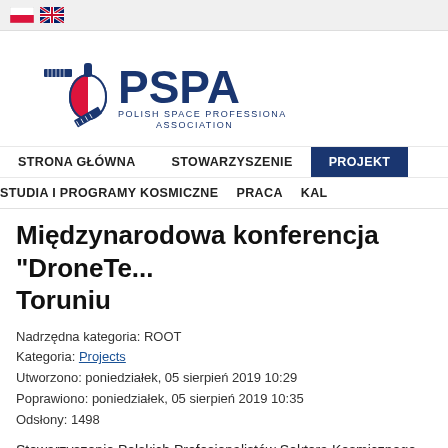[Figure (logo): Polish and UK flag icons in top navigation bar]
[Figure (logo): PSPA Polish Space Professionals Association logo with rocket/satellite graphic in blue and red]
STRONA GŁÓWNA   STOWARZYSZENIE   PROJEKT
STUDIA I PROGRAMY KOSMICZNE   PRACA   KAL
Międzynarodowa konferencja "DroneTe... Toruniu
Nadrzędna kategoria: ROOT
Kategoria: Projects
Utworzono: poniedziałek, 05 sierpień 2019 10:29
Poprawiono: poniedziałek, 05 sierpień 2019 10:35
Odsłony: 1498
Stowarzyszenie Polskich Profesjonalistów Sektora Kosmicznego podpisa...